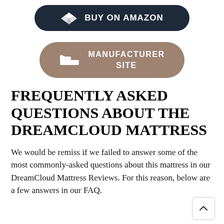[Figure (other): Dark navy rounded pill button with Dropbox-like diamond icon and text 'BUY ON AMAZON']
[Figure (other): Tan/brown rounded pill button with bed icon and text 'MANUFACTURER SITE']
FREQUENTLY ASKED QUESTIONS ABOUT THE DREAMCLOUD MATTRESS
We would be remiss if we failed to answer some of the most commonly-asked questions about this mattress in our DreamCloud Mattress Reviews. For this reason, below are a few answers in our FAQ.